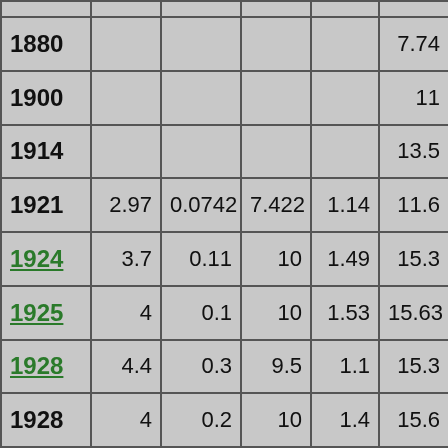| Year | Col2 | Col3 | Col4 | Col5 | Col6 |
| --- | --- | --- | --- | --- | --- |
|  |  |  |  |  |  |
| 1880 |  |  |  |  | 7.74 |
| 1900 |  |  |  |  | 11 |
| 1914 |  |  |  |  | 13.5 |
| 1921 | 2.97 | 0.0742 | 7.422 | 1.14 | 11.6 |
| 1924 | 3.7 | 0.11 | 10 | 1.49 | 15.3 |
| 1925 | 4 | 0.1 | 10 | 1.53 | 15.63 |
| 1928 | 4.4 | 0.3 | 9.5 | 1.1 | 15.3 |
| 1928 | 4 | 0.2 | 10 | 1.4 | 15.6 |